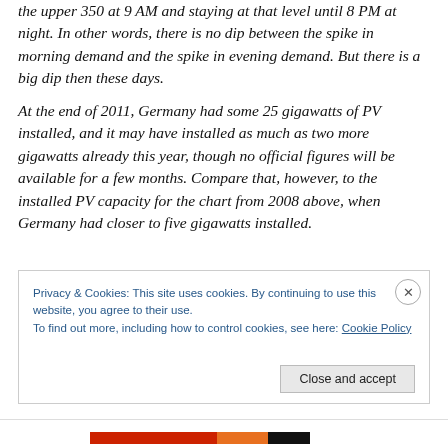the upper 350 at 9 AM and staying at that level until 8 PM at night. In other words, there is no dip between the spike in morning demand and the spike in evening demand. But there is a big dip then these days.
At the end of 2011, Germany had some 25 gigawatts of PV installed, and it may have installed as much as two more gigawatts already this year, though no official figures will be available for a few months. Compare that, however, to the installed PV capacity for the chart from 2008 above, when Germany had closer to five gigawatts installed.
Privacy & Cookies: This site uses cookies. By continuing to use this website, you agree to their use.
To find out more, including how to control cookies, see here: Cookie Policy